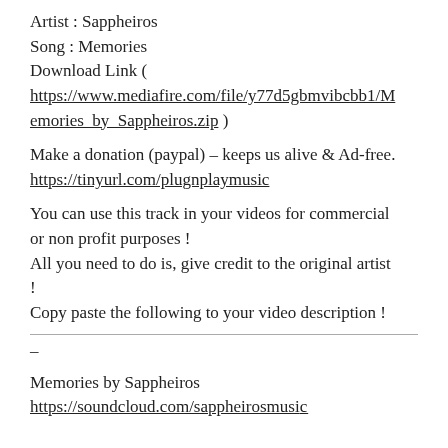Artist : Sappheiros
Song : Memories
Download Link ( https://www.mediafire.com/file/y77d5gbmvibcbb1/Memories_by_Sappheiros.zip )
Make a donation (paypal) – keeps us alive & Ad-free.
https://tinyurl.com/plugnplaymusic
You can use this track in your videos for commercial or non profit purposes !
All you need to do is, give credit to the original artist !
Copy paste the following to your video description !
–
Memories by Sappheiros
https://soundcloud.com/sappheirosmusi c